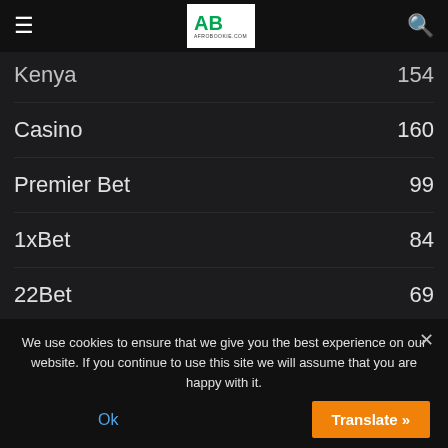AfroBookie.com header with hamburger menu, logo, and search icon
Kenya 154
Casino 160
Premier Bet 99
1xBet 84
22Bet 69
Rwanda 58
Uganda 51
Melbet 49
We use cookies to ensure that we give you the best experience on our website. If you continue to use this site we will assume that you are happy with it.
Ok
Translate »